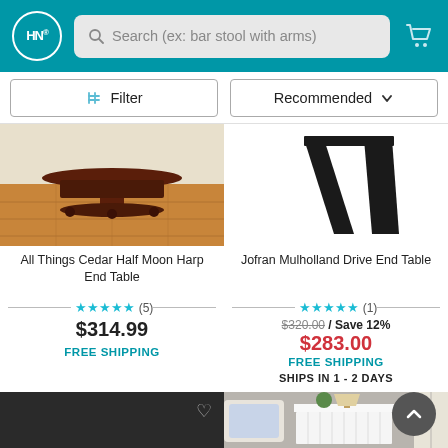HN — Search (ex: bar stool with arms)
Filter | Recommended
[Figure (photo): All Things Cedar Half Moon Harp End Table product photo — dark wood table on hardwood floor]
All Things Cedar Half Moon Harp End Table
★★★★★ (5)
$314.99
FREE SHIPPING
[Figure (photo): Jofran Mulholland Drive End Table product photo — black metal angular legs, cropped view]
Jofran Mulholland Drive End Table
★★★★★ (1)
$320.00 / Save 12%
$283.00
FREE SHIPPING
SHIPS IN 1 - 2 DAYS
[Figure (photo): Dark wood nightstand/end table with drawer and cabinet door]
[Figure (photo): White lattice-patterned end table with decorative lamp, books, and plant on top, positioned next to a sofa]